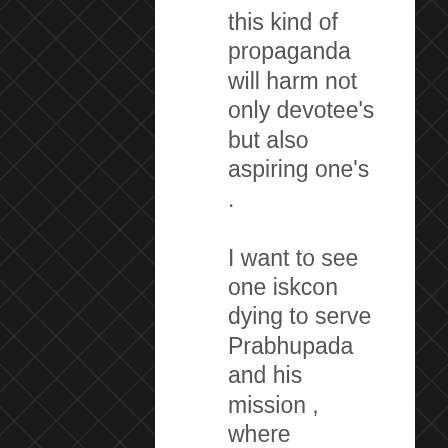this kind of propaganda will harm not only devotee's but also aspiring one's .

I want to see one iskcon dying to serve Prabhupada and his mission , where